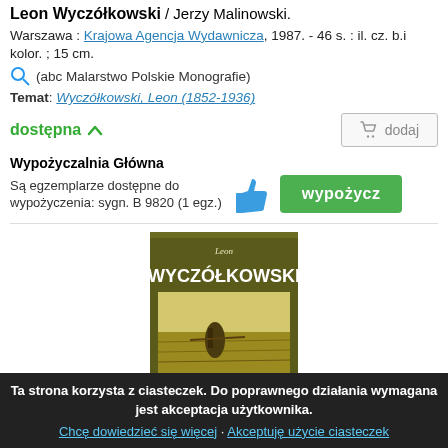Leon Wyczółkowski / Jerzy Malinowski. Warszawa : Krajowa Agencja Wydawnicza, 1987. - 46 s. : il. cz. b.i kolor. ; 15 cm.
(abc Malarstwo Polskie Monografie)
Temat: Wyczółkowski, Leon (1852-1936)
dostępna
dodaj
Wypożyczalnia Główna
Są egzemplarze dostępne do wypożyczenia: sygn. B 9820 (1 egz.)
wypożycz
[Figure (photo): Book cover of Leon Wyczółkowski monograph, olive/brown background with large white text 'Leon WYCZÓŁKOWSKI' and a painting detail showing a figure in a field]
Ta strona korzysta z ciasteczek. Do poprawnego działania wymagana jest akceptacja użytkownika. Chcę dowiedzieć się więcej · Akceptuję użycie ciasteczek